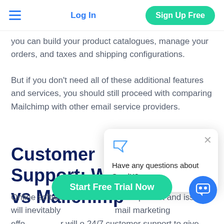Log In | Sign Up Free
you can build your product catalogues, manage your orders, and taxes and shipping configurations.
But if you don't need all of these additional features and services, you should still proceed with comparing Mailchimp with other email service providers.
Customer Support: Wix vs Mailchimp
[Figure (screenshot): Chat popup overlay from SendX with message 'Have any questions about SendX?' and a close (X) button]
Online software platforms are not perfect and issues will inevitably mail marketing eff a good email provider will o 24/7 customer support to give you the help you need